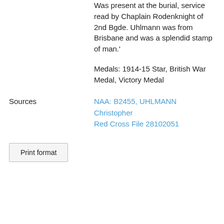Was present at the burial, service read by Chaplain Rodenknight of 2nd Bgde. Uhlmann was from Brisbane and was a splendid stamp of man.'
Medals: 1914-15 Star, British War Medal, Victory Medal
Sources
NAA: B2455, UHLMANN Christopher
Red Cross File 28102051
Print format